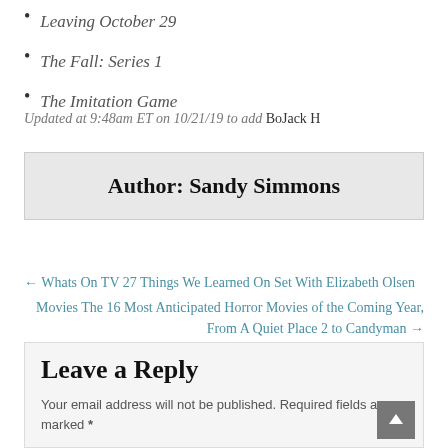Leaving October 29
The Fall: Series 1
The Imitation Game
Updated at 9:48am ET on 10/21/19 to add BoJack H
Author: Sandy Simmons
← Whats On TV 27 Things We Learned On Set With Elizabeth Olsen
Movies The 16 Most Anticipated Horror Movies of the Coming Year, From A Quiet Place 2 to Candyman →
Leave a Reply
Your email address will not be published. Required fields are marked *